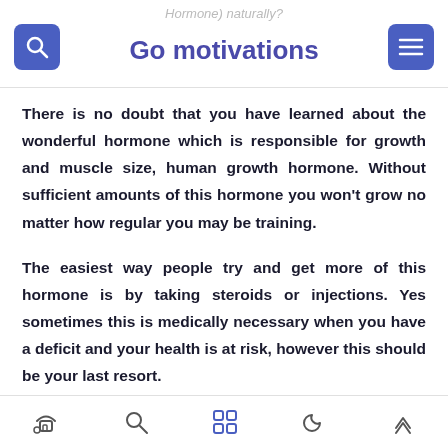Hormone) naturally? Go motivations
There is no doubt that you have learned about the wonderful hormone which is responsible for growth and muscle size, human growth hormone. Without sufficient amounts of this hormone you won't grow no matter how regular you may be training.
The easiest way people try and get more of this hormone is by taking steroids or injections. Yes sometimes this is medically necessary when you have a deficit and your health is at risk, however this should be your last resort.
navigation icons: home, search, grid, moon, up-arrow